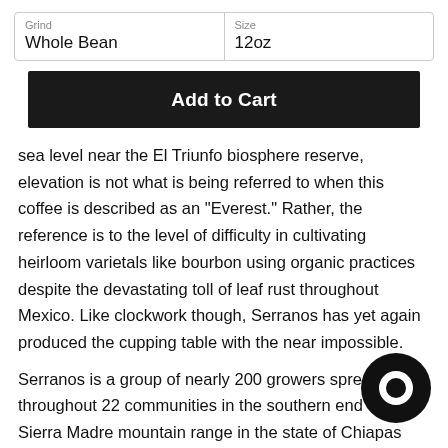| Grind
Whole Bean | Size
12oz |
Add to Cart
sea level near the El Triunfo biosphere reserve, elevation is not what is being referred to when this coffee is described as an "Everest." Rather, the reference is to the level of difficulty in cultivating heirloom varietals like bourbon using organic practices despite the devastating toll of leaf rust throughout Mexico. Like clockwork though, Serranos has yet again produced the cupping table with the near impossible.
Serranos is a group of nearly 200 growers spread throughout 22 communities in the southern end of the Sierra Madre mountain range in the state of Chiapas